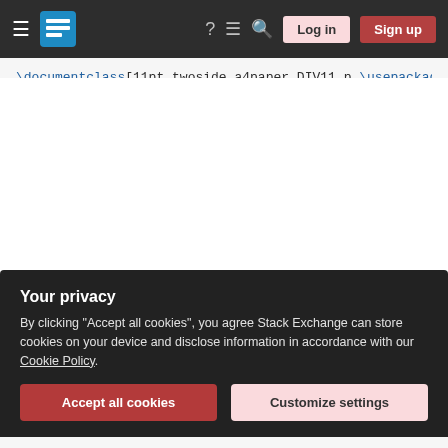Stack Exchange navigation bar with hamburger menu, logo, help, chat, search icons, Log in and Sign up buttons
\documentclass[11pt,twoside,a4paper,DIV11,p
\usepackage[utf8]{inputenc}
\usepackage[T1]{fontenc}
\usepackage{color}
\usepackage[ngerman]{babel}
\usepackage[left=2.5 cm,right=2.5 cm,top=2.
\usepackage[ngerman]{datetime}
\addtokomafont{caption}{\small}
\newdateformat{digitsdate}{\twodigit{\THEDA
\pagestyle{fancy}
\setlength{\headwidth}{\textwidth}
\renewcommand{\sectionmark}[1]{\markright{\
Your privacy
By clicking "Accept all cookies", you agree Stack Exchange can store cookies on your device and disclose information in accordance with our Cookie Policy.
Accept all cookies  Customize settings
\renewcommand{\familydefault}{\sfdefault}